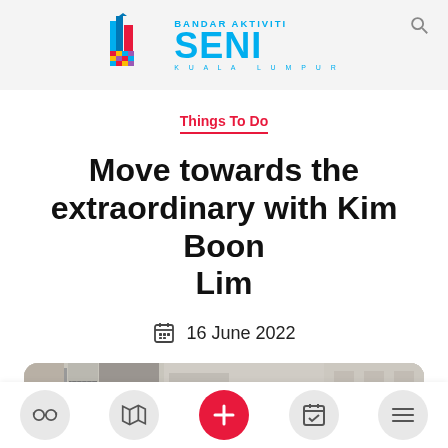[Figure (logo): Bandar Aktiviti Seni Kuala Lumpur logo with colorful building icon and blue text]
Things To Do
Move towards the extraordinary with Kim Boon Lim
16 June 2022
[Figure (photo): Partial photo of a building exterior with balcony railings and greenery, cropped at bottom of page]
Navigation bar with icons: glasses, map, plus (active/red), calendar, menu